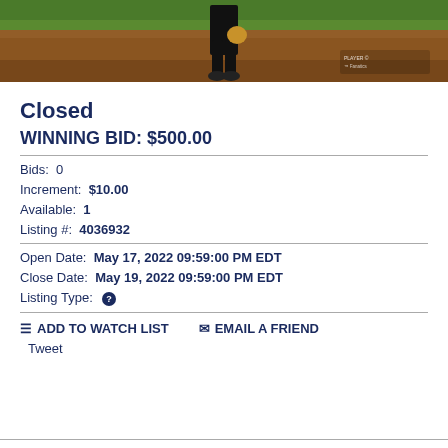[Figure (photo): Baseball player walking on dirt field near warning track, viewed from waist down, wearing black pants and cleats, holding a glove. Small watermark logos in bottom right corner.]
Closed
WINNING BID: $500.00
Bids: 0
Increment: $10.00
Available: 1
Listing #: 4036932
Open Date: May 17, 2022 09:59:00 PM EDT
Close Date: May 19, 2022 09:59:00 PM EDT
Listing Type: ?
ADD TO WATCH LIST   EMAIL A FRIEND
Tweet